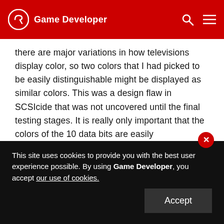Game Developer
there are major variations in how televisions display color, so two colors that I had picked to be easily distinguishable might be displayed as similar colors. This was a design flaw in SCSIcide that was not uncovered until the final testing stages. It is really only important that the colors of the 10 data bits are easily distinguishable, not what colors actually are.
Besides the television variations, SCSIcide was designed for NTSC (the North American television
This site uses cookies to provide you with the best user experience possible. By using Game Developer, you accept our use of cookies.